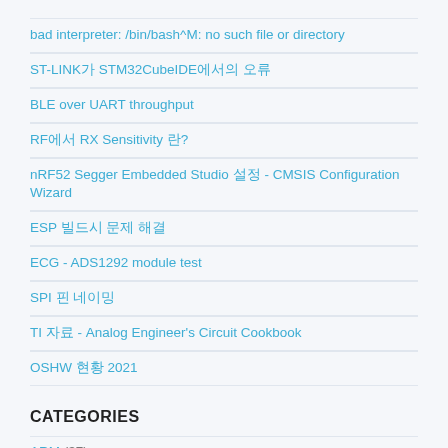bad interpreter: /bin/bash^M: no such file or directory
ST-LINK가 STM32CubeIDE에서의 오류
BLE over UART throughput
RF에서 RX Sensitivity 란?
nRF52 Segger Embedded Studio 설정 - CMSIS Configuration Wizard
ESP 빌드시 문제 해결
ECG - ADS1292 module test
SPI 핀 네이밍
TI 자료 - Analog Engineer's Circuit Cookbook
OSHW 현황 2021
CATEGORIES
ARM (37)
Arduino Tutorial (3)